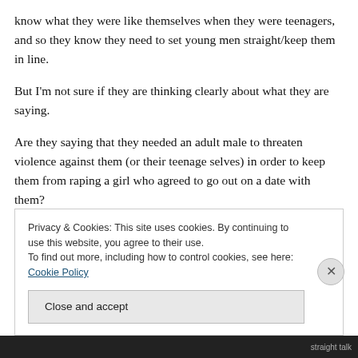know what they were like themselves when they were teenagers, and so they know they need to set young men straight/keep them in line.
But I'm not sure if they are thinking clearly about what they are saying.
Are they saying that they needed an adult male to threaten violence against them (or their teenage selves) in order to keep them from raping a girl who agreed to go out on a date with them?
Privacy & Cookies: This site uses cookies. By continuing to use this website, you agree to their use. To find out more, including how to control cookies, see here: Cookie Policy
Close and accept